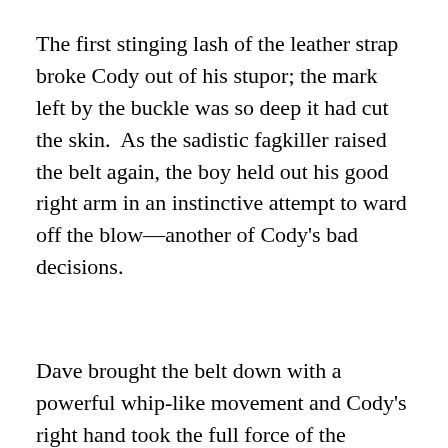The first stinging lash of the leather strap broke Cody out of his stupor; the mark left by the buckle was so deep it had cut the skin.  As the sadistic fagkiller raised the belt again, the boy held out his good right arm in an instinctive attempt to ward off the blow—another of Cody's bad decisions.
Dave brought the belt down with a powerful whip-like movement and Cody's right hand took the full force of the buckle, snapping all but his thumb and pinkie finger.  With a shriek, the punk drew back his crushed hand